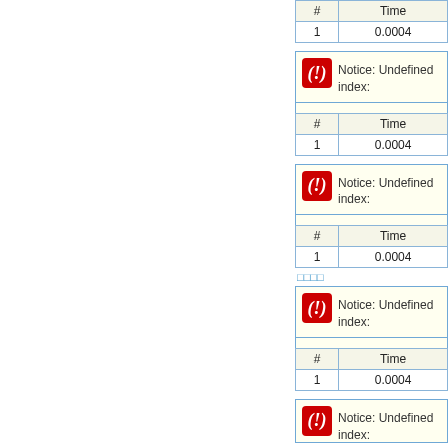| # | Time |
| --- | --- |
| 1 | 0.0004 |
[Figure (screenshot): Notice box with red exclamation icon: 'Notice: Undefined index:']
| # | Time |
| --- | --- |
| 1 | 0.0004 |
[Figure (screenshot): Notice box with red exclamation icon: 'Notice: Undefined index:']
| # | Time |
| --- | --- |
| 1 | 0.0004 |
□□□□
[Figure (screenshot): Notice box with red exclamation icon: 'Notice: Undefined index:']
| # | Time |
| --- | --- |
| 1 | 0.0004 |
[Figure (screenshot): Notice box with red exclamation icon: 'Notice: Undefined index:' (partially visible)]